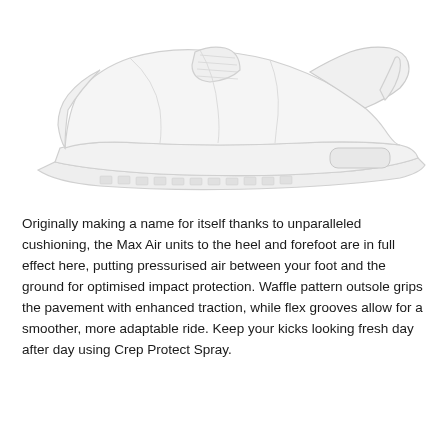[Figure (illustration): A white/light grey Nike Air Max sneaker shown in side profile view. The shoe is rendered in very light tones against a white background, showing the outline and details of the shoe including the Air Max unit in the heel, waffle outsole, and lacing.]
Originally making a name for itself thanks to unparalleled cushioning, the Max Air units to the heel and forefoot are in full effect here, putting pressurised air between your foot and the ground for optimised impact protection. Waffle pattern outsole grips the pavement with enhanced traction, while flex grooves allow for a smoother, more adaptable ride. Keep your kicks looking fresh day after day using Crep Protect Spray.